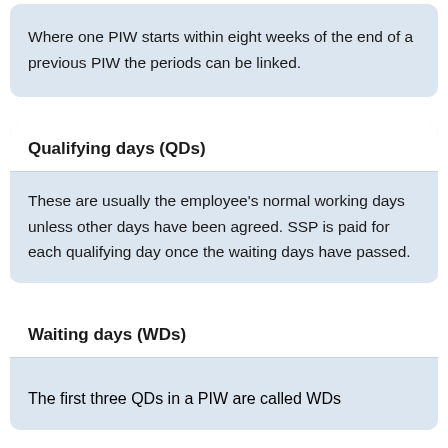Where one PIW starts within eight weeks of the end of a previous PIW the periods can be linked.
Qualifying days (QDs)
These are usually the employee's normal working days unless other days have been agreed. SSP is paid for each qualifying day once the waiting days have passed.
Waiting days (WDs)
The first three QDs in a PIW are called WDs